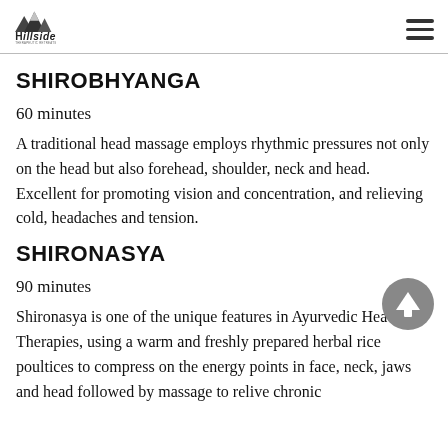Hillside [logo with mountain]
SHIROBHYANGA
60 minutes
A traditional head massage employs rhythmic pressures not only on the head but also forehead, shoulder, neck and head. Excellent for promoting vision and concentration, and relieving cold, headaches and tension.
SHIRONASYA
90 minutes
[Figure (other): Back to top arrow button — circular grey button with white upward arrow]
Shironasya is one of the unique features in Ayurvedic Head Therapies, using a warm and freshly prepared herbal rice poultices to compress on the energy points in face, neck, jaws and head followed by massage to relive chronic